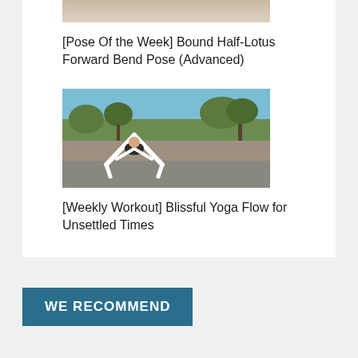[Figure (photo): Partial photo of yoga pose, cropped at top of page]
[Pose Of the Week] Bound Half-Lotus Forward Bend Pose (Advanced)
[Figure (photo): Outdoor yoga photo showing a person in a wide-legged forward fold pose, wearing white leggings and black top, against a natural outdoor background with trees and sky]
[Weekly Workout] Blissful Yoga Flow for Unsettled Times
WE RECOMMEND